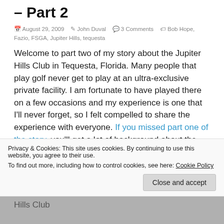– Part 2
August 29, 2009   John Duval   3 Comments   Bob Hope, Fazio, FSGA, Jupiter Hills, tequesta
Welcome to part two of my story about the Jupiter Hills Club in Tequesta, Florida. Many people that play golf never get to play at an ultra-exclusive private facility. I am fortunate to have played there on a few occasions and my experience is one that I'll never forget, so I felt compelled to share the experience with everyone. If you missed part one of the story, you'll get a lot of background about the
Privacy & Cookies: This site uses cookies. By continuing to use this website, you agree to their use.
To find out more, including how to control cookies, see here: Cookie Policy
Close and accept